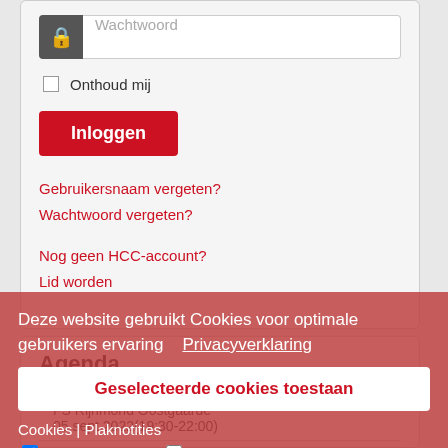[Figure (screenshot): Password input field with lock icon and placeholder text 'Wachtwoord']
Onthoud mij
Inloggen
Gebruikersnaam vergeten?
Wachtwoord vergeten?
Nog geen HCC-account?
Lid worden
Agenda
Flightsim Rijnmond
FS Rijnmond Oostgaarde
05 sept 2022(19:30-22:00)
Deze website gebruikt Cookies voor optimale gebruikers ervaring   Privacyverklaring
Geselecteerde cookies toestaan
Cookies | Plaknotities
Noodzakelijk | Social Media
Noordelijk Voornd
14 sept 2022(13:00-17:00)